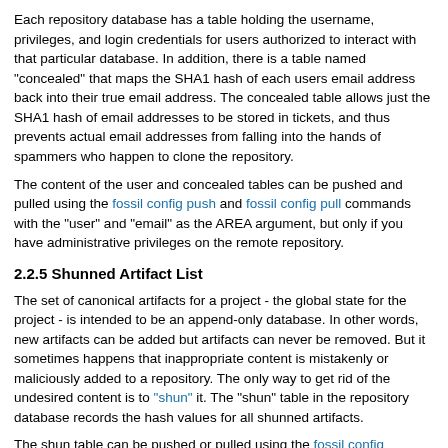Each repository database has a table holding the username, privileges, and login credentials for users authorized to interact with that particular database. In addition, there is a table named "concealed" that maps the SHA1 hash of each users email address back into their true email address. The concealed table allows just the SHA1 hash of email addresses to be stored in tickets, and thus prevents actual email addresses from falling into the hands of spammers who happen to clone the repository.
The content of the user and concealed tables can be pushed and pulled using the fossil config push and fossil config pull commands with the "user" and "email" as the AREA argument, but only if you have administrative privileges on the remote repository.
2.2.5 Shunned Artifact List
The set of canonical artifacts for a project - the global state for the project - is intended to be an append-only database. In other words, new artifacts can be added but artifacts can never be removed. But it sometimes happens that inappropriate content is mistakenly or maliciously added to a repository. The only way to get rid of the undesired content is to "shun" it. The "shun" table in the repository database records the hash values for all shunned artifacts.
The shun table can be pushed or pulled using the fossil config...